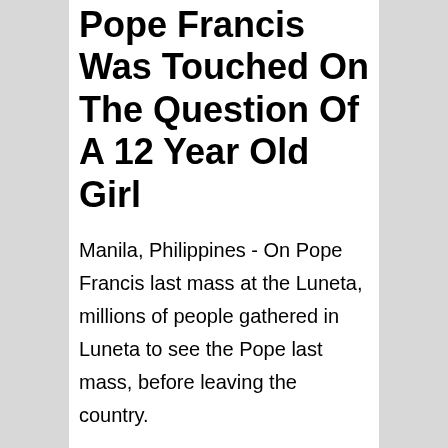Pope Francis Was Touched On The Question Of A 12 Year Old Girl
Manila, Philippines - On Pope Francis last mass at the Luneta, millions of people gathered in Luneta to see the Pope last mass, before leaving the country.
[Figure (other): Yellow advertisement placeholder block]